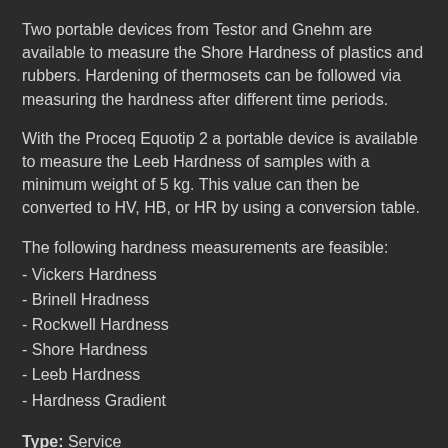Two portable devices from Testor and Gnehm are available to measure the Shore Hardness of plastics and rubbers. Hardening of thermosets can be followed via measuring the hardness after different time periods.
With the Proceq Equotip 2 a portable device is available to measure the Leeb Hardness of samples with a minimum weight of 5 kg. This value can then be converted to HV, HB, or HR by using a conversion table.
The following hardness measurements are feasible:
- Vickers Hardness
- Brinell Hradness
- Rockwell Hardness
- Shore Hardness
- Leeb Hardness
- Hardness Gradient
Type: Service